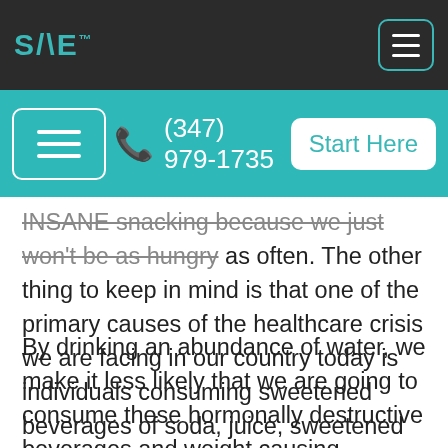SANE™ logo and hamburger menu navigation
(347) 979-1735   Start Here
INSANE snacking because we just won't be as hungry as often. The other thing to keep in mind is that one of the primary causes of the healthcare crisis we are facing in our country today is individuals consuming sweetened beverages of soda, juice, sweetened coffees, things like that.
By drinking an abundance of water, we make it less likely that we are going to consume these hormonally destructive beverages and weight causing beverages. So, science shows that yes thanks to the hypoosmotic state it causes in our body, water does actively help our body to burn fat more effectively. It is also great to